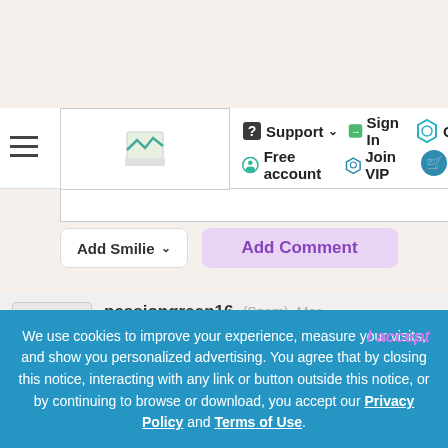[Figure (screenshot): Website navigation bar with hamburger menu, logo, Support dropdown, Sign In, Gift, Free account, Join VIP, and cart icon buttons]
[Figure (screenshot): Add Smilie dropdown button and Add Comment button in purple/lavender]
passiongreen16 (Spam) Mar 31, 2015
This is marked as spam
LOVE THANKS FOR MAKING.
We use cookies to improve your experience, measure your visits, and show you personalized advertising. You agree that by closing this notice, interacting with any link or button outside this notice, or by continuing to browse or download, you accept our Privacy Policy and Terms of Use.